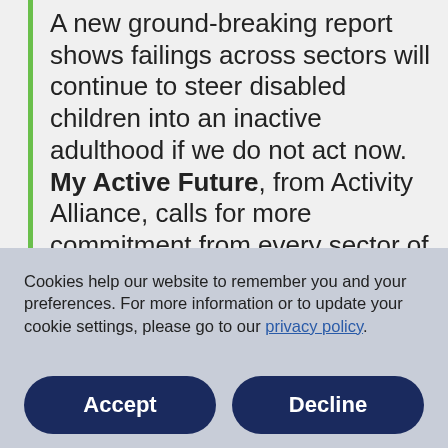A new ground-breaking report shows failings across sectors will continue to steer disabled children into an inactive adulthood if we do not act now. My Active Future, from Activity Alliance, calls for more commitment from every sector of
Cookies help our website to remember you and your preferences. For more information or to update your cookie settings, please go to our privacy policy.